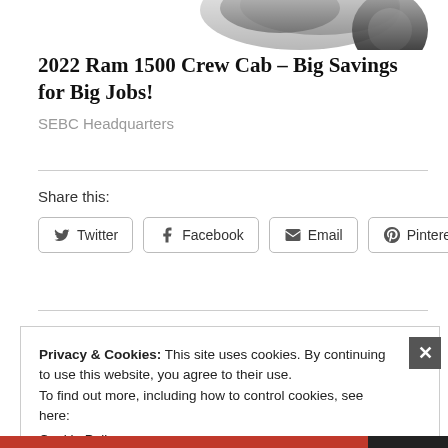[Figure (photo): Partial view of the bottom of a vehicle (Ram 1500 truck), cropped at the top of the page]
2022 Ram 1500 Crew Cab – Big Savings for Big Jobs!
SEBC Headquarters
Share this:
Twitter  Facebook  Email  Pinterest
Privacy & Cookies: This site uses cookies. By continuing to use this website, you agree to their use.
To find out more, including how to control cookies, see here:
Cookie Policy
Close and accept